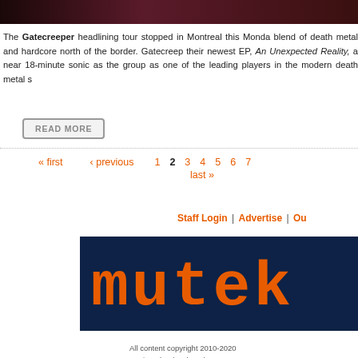[Figure (photo): Top partial image, dark reddish/black background, cropped]
The Gatecreeper headlining tour stopped in Montreal this Monday, blend of death metal and hardcore north of the border. Gatecreep... their newest EP, An Unexpected Reality, a near 18-minute sonic as... the group as one of the leading players in the modern death metal sc...
READ MORE
« first ‹ previous 1 2 3 4 5 6 7 last »
Staff Login | Advertise | Ou...
[Figure (logo): MUTEK logo in orange bold letters on dark navy background]
All content copyright 2010-2020
Designed + developed courtesy